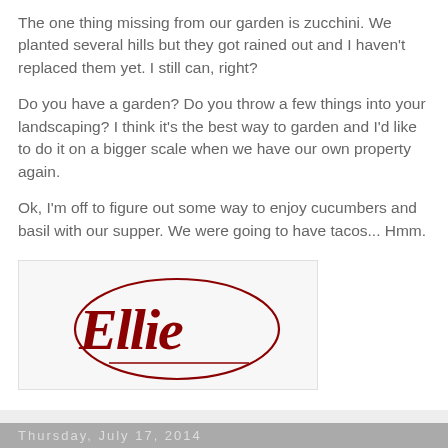The one thing missing from our garden is zucchini. We planted several hills but they got rained out and I haven't replaced them yet. I still can, right?
Do you have a garden? Do you throw a few things into your landscaping? I think it's the best way to garden and I'd like to do it on a bigger scale when we have our own property again.
Ok, I'm off to figure out some way to enjoy cucumbers and basil with our supper. We were going to have tacos... Hmm.
[Figure (illustration): Cursive signature reading 'Ellie' in dark red/maroon on a light gray background]
Unknown at 4:25 PM    No comments:
Thursday, July 17, 2014